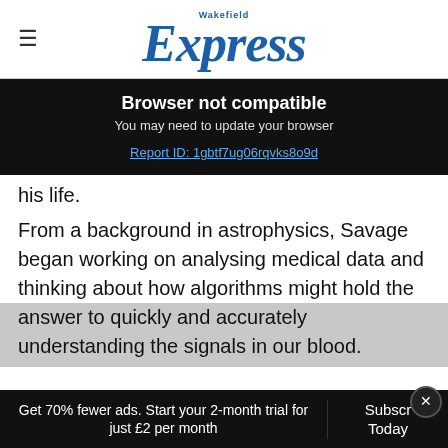Wakefield Express
Browser not compatible
You may need to update your browser
Report ID: 1gbtf7ug06rqvks8o9d
his life.
From a background in astrophysics, Savage began working on analysing medical data and thinking about how algorithms might hold the answer to quickly and accurately understanding the signals in our blood.
Get 70% fewer ads. Start your 2-month trial for just £2 per month
Subscribe Today